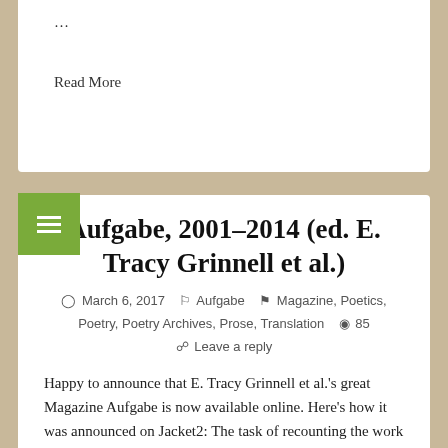…
Read More
Aufgabe, 2001–2014 (ed. E. Tracy Grinnell et al.)
March 6, 2017   Aufgabe   Magazine, Poetics, Poetry, Poetry Archives, Prose, Translation   85   Leave a reply
Happy to announce that E. Tracy Grinnell et al.'s great Magazine Aufgabe is now available online. Here's how it was announced on Jacket2: The task of recounting the work of Aufgabe is formidable. Founding editor E. Tracy Grinnell initiated the magazine in the Bay Area in 1999. Over the next fifteen years, Aufgabe has featured seventy editors, roughly 700 writers, nearly 150 translators, and twenty artists from